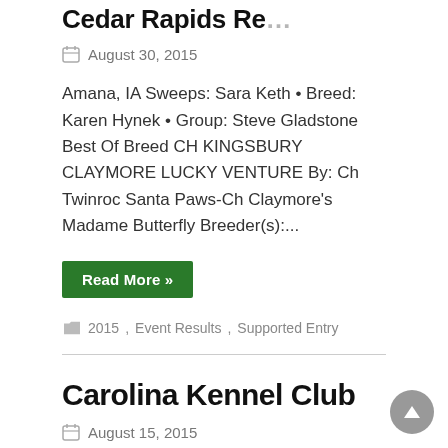Cedar Rapids Re…
August 30, 2015
Amana, IA Sweeps: Sara Keth • Breed: Karen Hynek • Group: Steve Gladstone Best Of Breed CH KINGSBURY CLAYMORE LUCKY VENTURE By: Ch Twinroc Santa Paws-Ch Claymore's Madame Butterfly Breeder(s):...
Read More »
2015, Event Results, Supported Entry
Carolina Kennel Club
August 15, 2015
Greensboro, NC Sweeps: Gayle Petrick • Breed: John P. Wade • Group: John P. Wade Best Of Breed GCH